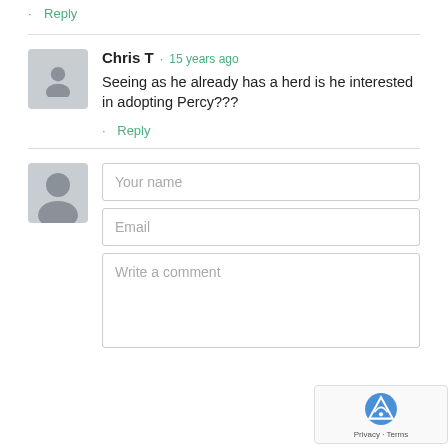Erika
· Reply
Chris T · 15 years ago
Seeing as he already has a herd is he interested in adopting Percy???
· Reply
[Figure (screenshot): Comment form with Your name, Email, and Write a comment fields, and a reCAPTCHA badge]